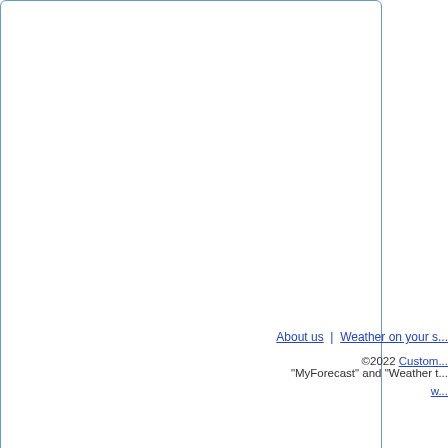| Location | Link |
| --- | --- |
| Lake Michigan - Michigan,Lake Michigan | Mari... |
| Chesapeake Bay,Tidal Potomac,Coastal Atlantic (south to NC) | Mari... |
| Coastal Alaska | Mari... |
| Indiana | Mari... |
| Illinois | Mari... |
| Coastal South Carolina-Georgia | Mari... |
| California | Red... |
| Coastal Washington,Strait of Juan de Fuca - Washington | Non... |
| Coastal California | Non... |
| Nevada | Non... |
| Idaho | Non... |
| Coastal Washington,Strait of Juan de Fuca - Washington | Non... |
Back to Top
About us  |  Weather on your s...  ©2022 Custom... "MyForecast" and "Weather t...  w...